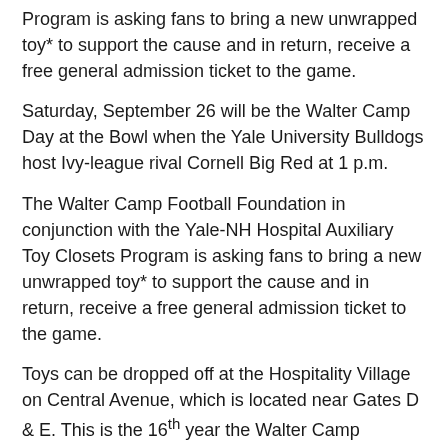Program is asking fans to bring a new unwrapped toy* to support the cause and in return, receive a free general admission ticket to the game.
Saturday, September 26 will be the Walter Camp Day at the Bowl when the Yale University Bulldogs host Ivy-league rival Cornell Big Red at 1 p.m.
The Walter Camp Football Foundation in conjunction with the Yale-NH Hospital Auxiliary Toy Closets Program is asking fans to bring a new unwrapped toy* to support the cause and in return, receive a free general admission ticket to the game.
Toys can be dropped off at the Hospitality Village on Central Avenue, which is located near Gates D & E. This is the 16th year the Walter Camp Foundation has coordinated this toy drive and the seventh with event sponsor, the law firm of Berchem, Moses & Devlin, P.C.